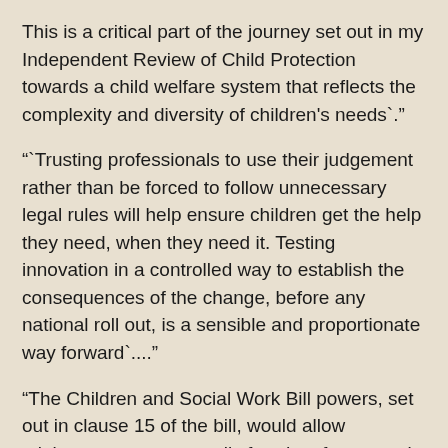This is a critical part of the journey set out in my Independent Review of Child Protection towards a child welfare system that reflects the complexity and diversity of children's needs`."
"`Trusting professionals to use their judgement rather than be forced to follow unnecessary legal rules will help ensure children get the help they need, when they need it. Testing innovation in a controlled way to establish the consequences of the change, before any national roll out, is a sensible and proportionate way forward`...."
"The Children and Social Work Bill powers, set out in clause 15 of the bill, would allow ministers to grant councils freedom from certain pieces of social care legislation. This includes parts of the Children Act 1989 and Children Act 2004. The freedoms can be granted for three years, with an option of a further